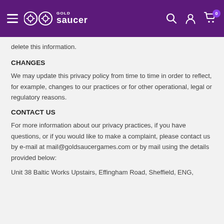Gold Saucer — navigation header
delete this information.
CHANGES
We may update this privacy policy from time to time in order to reflect, for example, changes to our practices or for other operational, legal or regulatory reasons.
CONTACT US
For more information about our privacy practices, if you have questions, or if you would like to make a complaint, please contact us by e-mail at mail@goldsaucergames.com or by mail using the details provided below:
Unit 38 Baltic Works Upstairs, Effingham Road, Sheffield, ENG,